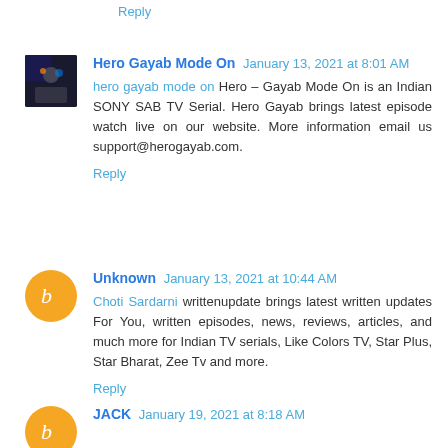Reply
Hero Gayab Mode On  January 13, 2021 at 8:01 AM
hero gayab mode on Hero – Gayab Mode On is an Indian SONY SAB TV Serial. Hero Gayab brings latest episode watch live on our website. More information email us support@herogayab.com.
Reply
Unknown  January 13, 2021 at 10:44 AM
Choti Sardarni writtenupdate brings latest written updates For You, written episodes, news, reviews, articles, and much more for Indian TV serials, Like Colors TV, Star Plus, Star Bharat, Zee Tv and more.
Reply
JACK  January 19, 2021 at 8:18 AM